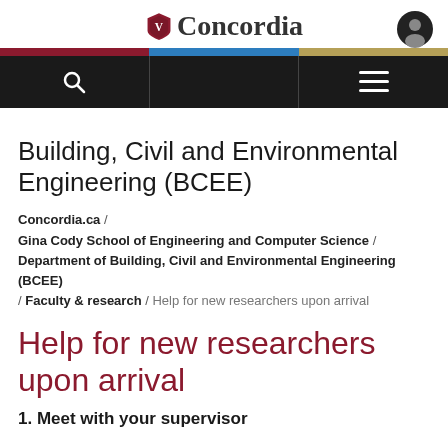Concordia
Building, Civil and Environmental Engineering (BCEE)
Concordia.ca / Gina Cody School of Engineering and Computer Science / Department of Building, Civil and Environmental Engineering (BCEE) / Faculty & research / Help for new researchers upon arrival
Help for new researchers upon arrival
1. Meet with your supervisor